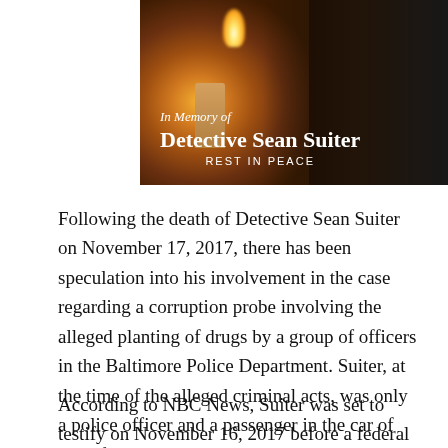[Figure (photo): Memorial photo with candle flame on left and a smiling man on the right, overlaid with text: 'In Memory of Detective Sean Suiter REST IN PEACE']
Following the death of Detective Sean Suiter on November 17, 2017, there has been speculation into his involvement in the case regarding a corruption probe involving the alleged planting of drugs by a group of officers in the Baltimore Police Department. Suiter, at the time of the alleged criminal acts, was only a police officer and a passenger in the car of one of the accused.
According to NBC News, Suiter was set to testify on November 16, 2017 before a federal grand